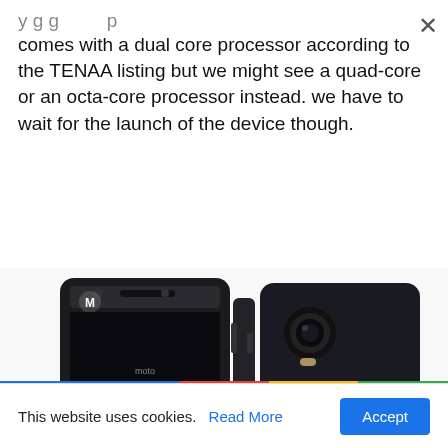comes with a dual core processor according to the TENAA listing but we might see a quad-core or an octa-core processor instead. we have to wait for the launch of the device though.
[Figure (photo): Photo of a Motorola Moto smartphone shown from front and back/side views against a white background. The front shows the Motorola logo, speaker, and moto branding. The back shows a circular camera module.]
This website uses cookies. Read More Accept